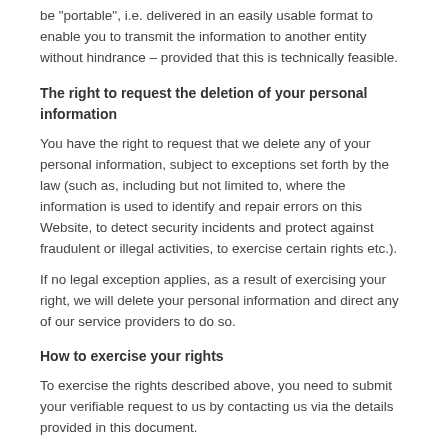be "portable", i.e. delivered in an easily usable format to enable you to transmit the information to another entity without hindrance – provided that this is technically feasible.
The right to request the deletion of your personal information
You have the right to request that we delete any of your personal information, subject to exceptions set forth by the law (such as, including but not limited to, where the information is used to identify and repair errors on this Website, to detect security incidents and protect against fraudulent or illegal activities, to exercise certain rights etc.).
If no legal exception applies, as a result of exercising your right, we will delete your personal information and direct any of our service providers to do so.
How to exercise your rights
To exercise the rights described above, you need to submit your verifiable request to us by contacting us via the details provided in this document.
For us to respond to your request, it's necessary that we know who you are. Therefore, you can only exercise the above rights by making a verifiable request which must: